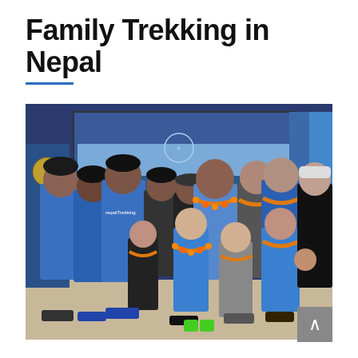Family Trekking in Nepal
[Figure (photo): Group photo of a family trekking party with Nepali guides in blue Nepal Trekking branded t-shirts, posing indoors. The group includes adults and young children wearing marigold garland leis. A large mural of a Nepali cityscape is visible in the background.]